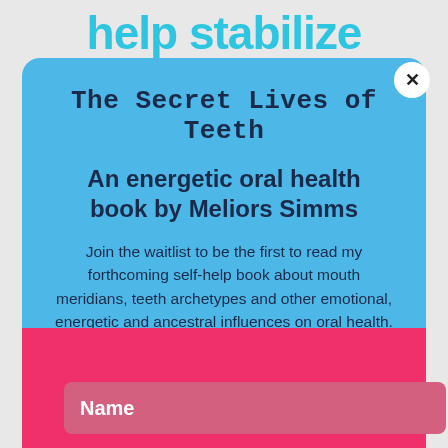help stabilize
[Figure (screenshot): Close button (X) in white circle]
The Secret Lives of Teeth
An energetic oral health book by Meliors Simms
Join the waitlist to be the first to read my forthcoming self-help book about mouth meridians, teeth archetypes and other emotional, energetic and ancestral influences on oral health.
COMING SOON!
Name